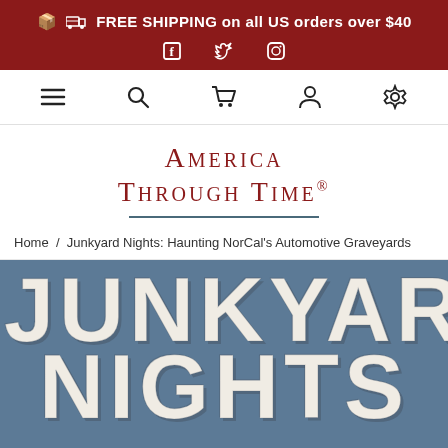FREE SHIPPING on all US orders over $40
[Figure (screenshot): Navigation bar with hamburger menu, search, cart, person, and settings icons]
AMERICA THROUGH TIME®
Home / Junkyard Nights: Haunting NorCal's Automotive Graveyards
[Figure (illustration): Book cover showing 'JUNKYARD NIGHTS' text in large distressed white letters on a steel blue background]